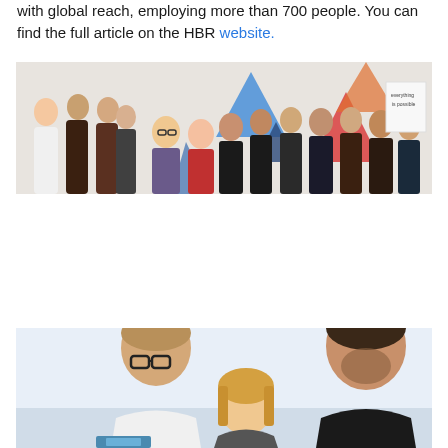with global reach, employing more than 700 people. You can find the full article on the HBR website.
[Figure (photo): Group photo of approximately 20 people standing together in an office with colorful geometric shapes (triangles) on the wall in blue, red, and orange. A sign reading 'everything is possible' is visible on the right.]
[Figure (photo): Three people (two men and a woman) looking down at something, possibly a document or screen, in a bright office environment.]